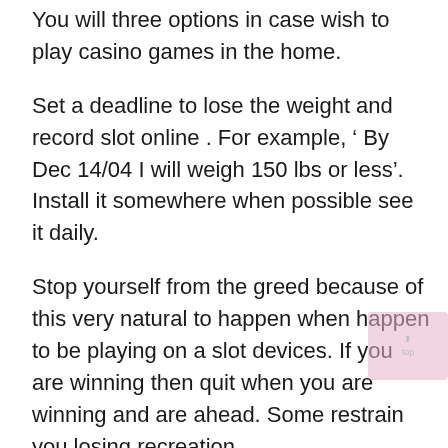You will three options in case wish to play casino games in the home.
Set a deadline to lose the weight and record slot online . For example, ‘ By Dec 14/04 I will weigh 150 lbs or less’. Install it somewhere when possible see it daily.
Stop yourself from the greed because of this very natural to happen when happen to be playing on a slot devices. If you are winning then quit when you are winning and are ahead. Some restrain you losing recreation.
Craps is the most popular dice game available within a casino, both off and superslot slot online casino. In a Craps game there are various betting options.